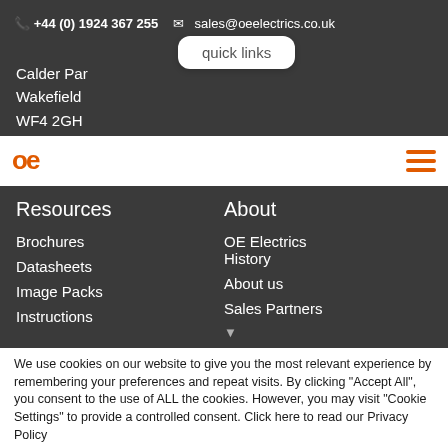+44 (0) 1924 367 255   sales@oeelectrics.co.uk
quick links
Calder Par
Wakefield
WF4 2GH
[Figure (logo): OE Electrics orange logo mark 'oe' text]
Resources
About
Brochures
Datasheets
Image Packs
Instructions
OE Electrics History
About us
Sales Partners
We use cookies on our website to give you the most relevant experience by remembering your preferences and repeat visits. By clicking "Accept All", you consent to the use of ALL the cookies. However, you may visit "Cookie Settings" to provide a controlled consent. Click here to read our Privacy Policy
Cookie Settings   Accept All
Share This